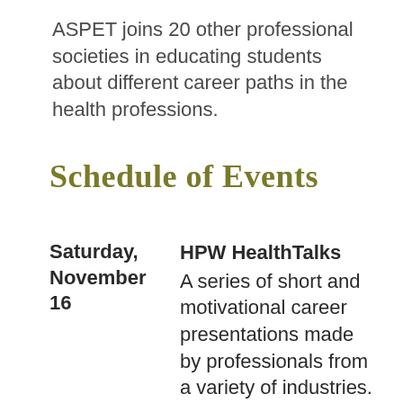ASPET joins 20 other professional societies in educating students about different career paths in the health professions.
Schedule of Events
Saturday, November 16
HPW HealthTalks A series of short and motivational career presentations made by professionals from a variety of industries. As you're watching, join the discussion